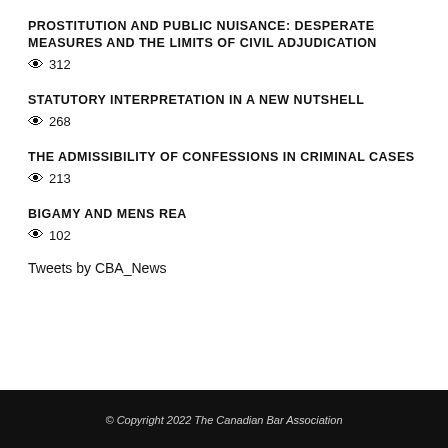PROSTITUTION AND PUBLIC NUISANCE: DESPERATE MEASURES AND THE LIMITS OF CIVIL ADJUDICATION
👁 312
STATUTORY INTERPRETATION IN A NEW NUTSHELL
👁 268
THE ADMISSIBILITY OF CONFESSIONS IN CRIMINAL CASES
👁 213
BIGAMY AND MENS REA
👁 102
Tweets by CBA_News
© Copyright 2022 The Canadian Bar Association